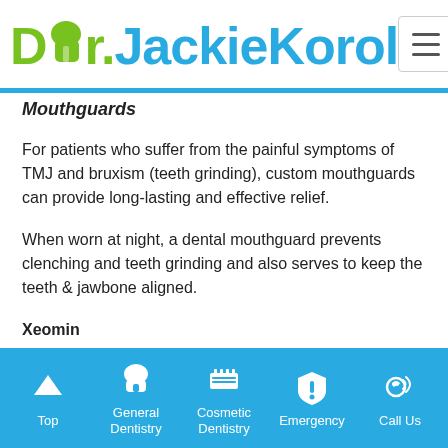[Figure (logo): Dr. Jackie Korol dental practice logo with tooth icon, green and blue colors]
Mouthguards
For patients who suffer from the painful symptoms of TMJ and bruxism (teeth grinding), custom mouthguards can provide long-lasting and effective relief.
When worn at night, a dental mouthguard prevents clenching and teeth grinding and also serves to keep the teeth & jawbone aligned.
Xeomin
Xeomin is fast becoming a popular treatment option for temporomandibular disorders. If you find that you are
Top | General Dentistry | Cosmetic Dentistry | Emergency | Call Us